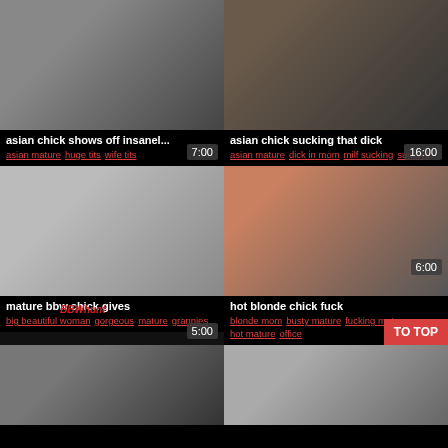[Figure (photo): Thumbnail 1 - asian chick shows off insanel..., duration 7:00]
asian chick shows off insanel...
asian mature   huge tits   wife tits
[Figure (photo): Thumbnail 2 - asian chick sucking that dick, duration 16:00]
asian chick sucking that dick
asian mature   dick in mom   milf sucking   sucking
[Figure (photo): Thumbnail 3 - mature bbw chick gives, duration 5:00, BBWhunt watermark]
mature bbw chick gives
big beautiful woman   gorgeous   mature   grannies
[Figure (photo): Thumbnail 4 - hot blonde chick fuck, duration 6:00, TO TOP button overlay]
hot blonde chick fuck
blonde mom   busty mature   fucking mature   hot mature   office
[Figure (photo): Thumbnail 5 - bottom left partial thumbnail]
[Figure (photo): Thumbnail 6 - bottom right partial thumbnail]